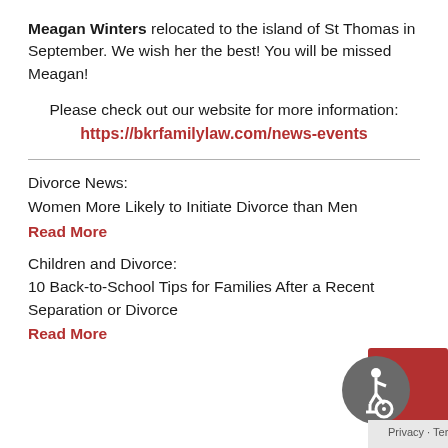Meagan Winters relocated to the island of St Thomas in September. We wish her the best! You will be missed Meagan!
Please check out our website for more information: https://bkrfamilylaw.com/news-events
Divorce News:
Women More Likely to Initiate Divorce than Men
Read More
Children and Divorce:
10 Back-to-School Tips for Families After a Recent Separation or Divorce
Read More